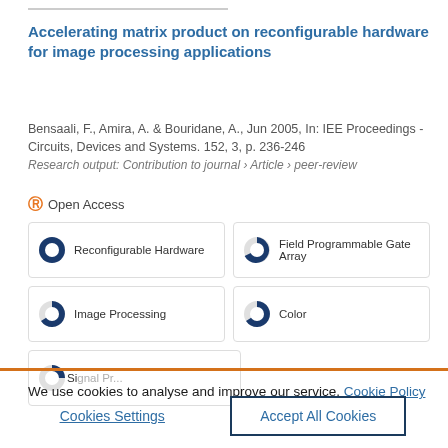Accelerating matrix product on reconfigurable hardware for image processing applications
Bensaali, F., Amira, A. & Bouridane, A., Jun 2005, In: IEE Proceedings - Circuits, Devices and Systems. 152, 3, p. 236-246
Research output: Contribution to journal › Article › peer-review
Open Access
Reconfigurable Hardware
Field Programmable Gate Array
Image Processing
Color
Signal Processing
We use cookies to analyse and improve our service. Cookie Policy
Cookies Settings
Accept All Cookies